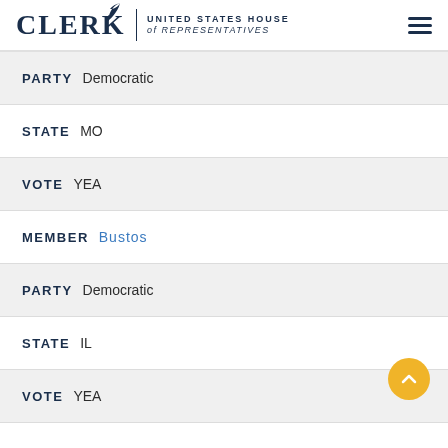CLERK UNITED STATES HOUSE of REPRESENTATIVES
PARTY Democratic
STATE MO
VOTE YEA
MEMBER Bustos
PARTY Democratic
STATE IL
VOTE YEA